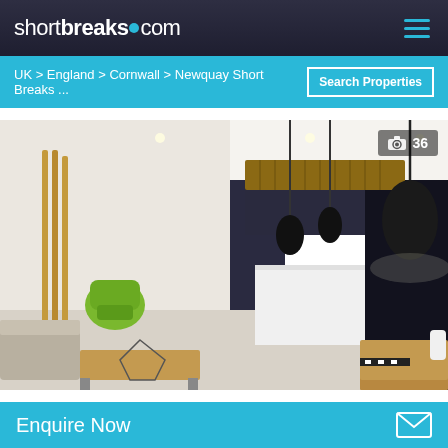shortbreaks.com
UK > England > Cornwall > Newquay Short Breaks ...
Search Properties
[Figure (photo): Modern open-plan interior with kitchen island, wooden beamed ceiling detail, green accent chair, wooden furniture and pendant lights]
📷 36
Houses in Cornwall
Enquire Now